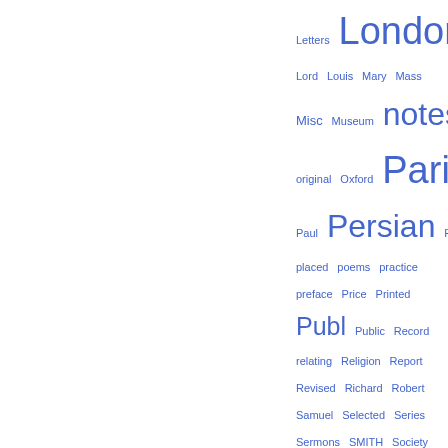[Figure (infographic): Tag cloud showing index terms in various font sizes in blue, arranged in rows. Terms include Letters, London, Lord, Louis, Mary, Mass, Misc, Museum, notes, original, Oxford, Paris, Paul, Persian, Philosophie, placed, poems, practice, preface, Price, Printed, Publ, Public, Record, relating, Religion, Report, Revised, Richard, Robert, Samuel, Selected, Series, Sermons, SMITH, Society, Squire Library, Story, Studien, Testament, Theologie, Thomas, tion, Translated, Tübingen, Turkish, University Library, University Press, Vorträge]